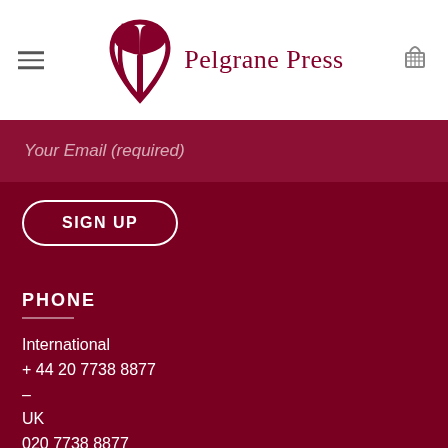[Figure (logo): Pelgrane Press logo — stylized P symbol in dark red with text 'Pelgrane Press' in serif font]
Your Email (required)
SIGN UP
PHONE
International
+ 44 20 7738 8877
–
UK
020 7738 8877
–
Retail & Distributors
(925) 240-0862